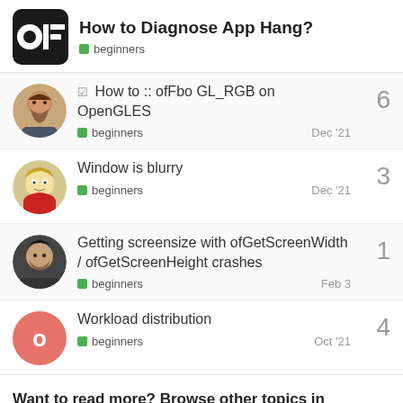How to Diagnose App Hang? | beginners
How to :: ofFbo GL_RGB on OpenGLES | beginners | Dec '21 | 6 replies
Window is blurry | beginners | Dec '21 | 3 replies
Getting screensize with ofGetScreenWidth / ofGetScreenHeight crashes | beginners | Feb 3 | 1 reply
Workload distribution | beginners | Oct '21 | 4 replies
Want to read more? Browse other topics in beginners or view latest topics.